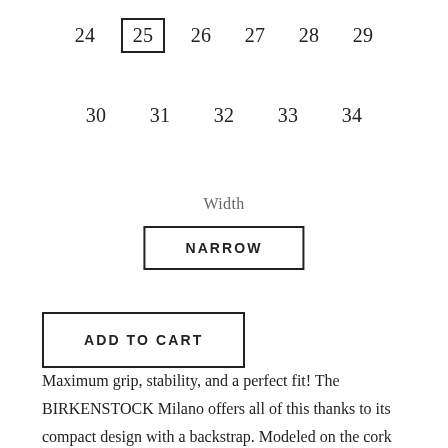24  25  26  27  28  29
30  31  32  33  34
Width
NARROW
ADD TO CART
Maximum grip, stability, and a perfect fit! The BIRKENSTOCK Milano offers all of this thanks to its compact design with a backstrap. Modeled on the cork original, this sandal is made from ultra lightweight and highly flexible EVA. This high-quality, odor-neutral synthetic material which has been tested